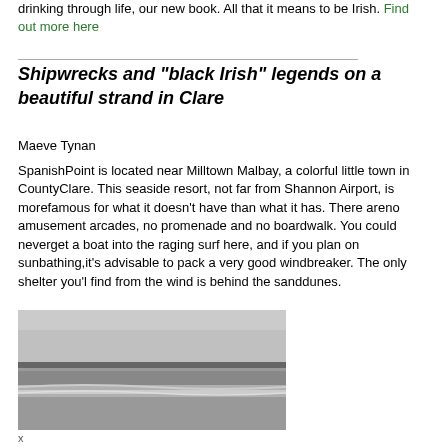drinking through life, our new book. All that it means to be Irish. Find out more here
Shipwrecks and "black Irish" legends on a beautiful strand in Clare
Maeve Tynan
SpanishPoint is located near Milltown Malbay, a colorful little town in CountyClare. This seaside resort, not far from Shannon Airport, is morefamous for what it doesn't have than what it has. There areno amusement arcades, no promenade and no boardwalk. You could neverget a boat into the raging surf here, and if you plan on sunbathing,it's advisable to pack a very good windbreaker. The only shelter you'l find from the wind is behind the sanddunes.
[Figure (photo): Black and white photograph of a beach/strand showing the sea, waves, shoreline and sky in County Clare, Ireland.]
x